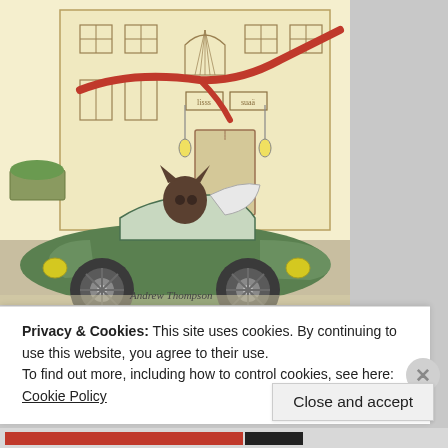[Figure (illustration): Cartoon illustration of an animal character (cat/wolf) wearing a red scarf, driving a green vintage convertible car in front of a Parisian-style building. Signed 'Andrew Thompson' at bottom.]
Andrew Thompson
Privacy & Cookies: This site uses cookies. By continuing to use this website, you agree to their use.
To find out more, including how to control cookies, see here:
Cookie Policy
Close and accept